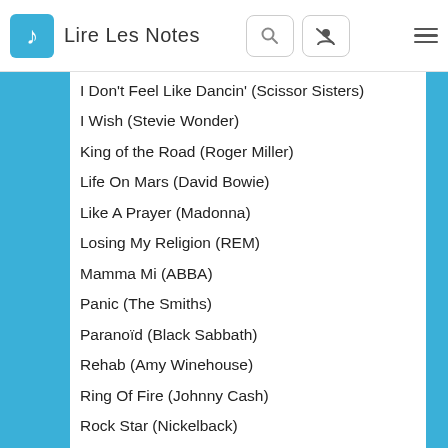Lire Les Notes
I Don't Feel Like Dancin' (Scissor Sisters)
I Wish (Stevie Wonder)
King of the Road (Roger Miller)
Life On Mars (David Bowie)
Like A Prayer (Madonna)
Losing My Religion (REM)
Mamma Mi (ABBA)
Panic (The Smiths)
Paranoïd (Black Sabbath)
Rehab (Amy Winehouse)
Ring Of Fire (Johnny Cash)
Rock Star (Nickelback)
Signed, Sealed, Delivered (Stevie Wonder)
Smells Like Teen Spirit (Nirvana)
Take Pn Me (A-HA)
Toxic (Britney Spears)
Wade In The Water (Eva Cassidy)